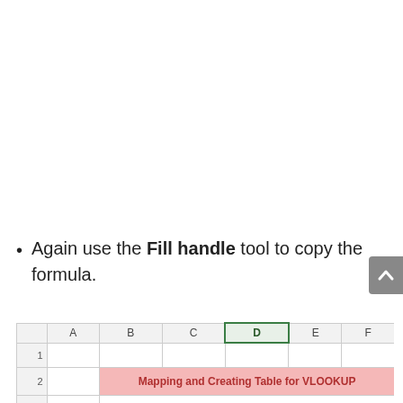[Figure (screenshot): Partial screenshot of a spreadsheet or document — upper portion cropped/white]
Again use the Fill handle tool to copy the formula.
[Figure (screenshot): Excel spreadsheet showing column headers A, B, C, D (selected/highlighted in green), E, F with row numbers 1 and 2. Row 2 contains a pink bar spanning columns B through F labeled 'Mapping and Creating Table for VLOOKUP']